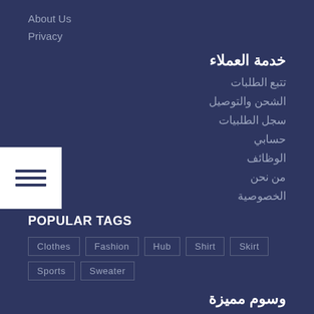About Us
Privacy
خدمة العملاء
تتبع الطلبات
الشحن والتوصيل
سجل الطلبيات
حسابي
الوظائف
من نحن
الخصوصية
POPULAR TAGS
Clothes  Fashion  Hub  Shirt  Skirt  Sports  Sweater
وسوم مميزة
Clothes  Fashion  Hub  Shirt  Skirt  Sports  Sweater